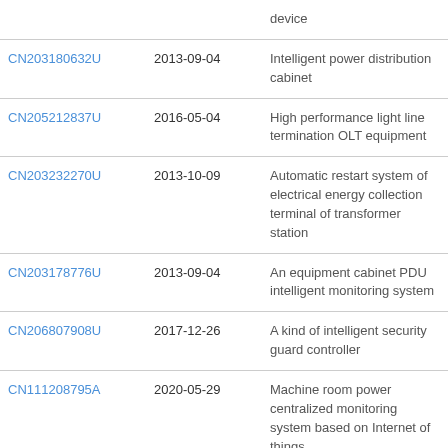| Patent Number | Date | Description |
| --- | --- | --- |
|  |  | device |
| CN203180632U | 2013-09-04 | Intelligent power distribution cabinet |
| CN205212837U | 2016-05-04 | High performance light line termination OLT equipment |
| CN203232270U | 2013-10-09 | Automatic restart system of electrical energy collection terminal of transformer station |
| CN203178776U | 2013-09-04 | An equipment cabinet PDU intelligent monitoring system |
| CN206807908U | 2017-12-26 | A kind of intelligent security guard controller |
| CN111208795A | 2020-05-29 | Machine room power centralized monitoring system based on Internet of things |
| CN206806636U | 2017-12-26 | A kind of intellectual monitoring power |